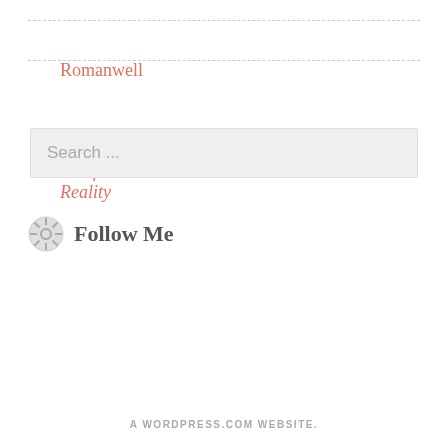Romanwell
The Grief Reality
Search ...
Follow Me
A WORDPRESS.COM WEBSITE.